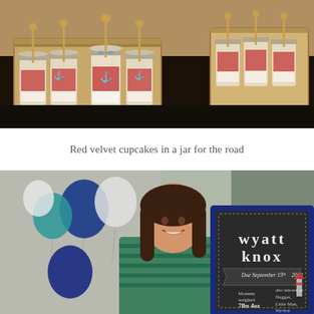[Figure (photo): Photo of multiple mason jars filled with red velvet cupcakes, topped with white cream, each with a small wooden spoon and anchor tag decoration, arranged in wooden crates on a dark table.]
Red velvet cupcakes in a jar for the road
[Figure (photo): Photo of a smiling woman with long dark hair wearing a striped shirt, holding a navy-framed chalkboard sign that reads 'wyatt knox Due September 15th 2013' with balloon decorations in blue and white in the background.]